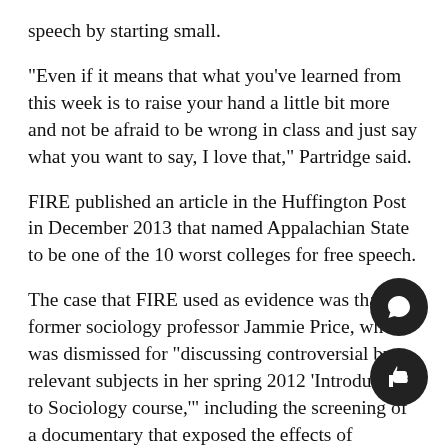speech by starting small.
“Even if it means that what you’ve learned from this week is to raise your hand a little bit more and not be afraid to be wrong in class and just say what you want to say, I love that,” Partridge said.
FIRE published an article in the Huffington Post in December 2013 that named Appalachian State to be one of the 10 worst colleges for free speech.
The case that FIRE used as evidence was that of former sociology professor Jammie Price, who was dismissed for “discussing controversial but relevant subjects in her spring 2012 ‘Introduction to Sociology course,’” including the screening of a documentary that exposed the effects of pornography on culture, according to the Huffington Post.
[Figure (other): Comment/chat bubble icon button (dark circle with speech bubble icon)]
[Figure (other): Thumbs up/like icon button (dark circle with thumbs up icon)]